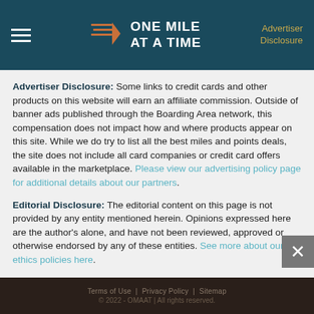ONE MILE AT A TIME | Advertiser Disclosure
Advertiser Disclosure: Some links to credit cards and other products on this website will earn an affiliate commission. Outside of banner ads published through the Boarding Area network, this compensation does not impact how and where products appear on this site. While we do try to list all the best miles and points deals, the site does not include all card companies or credit card offers available in the marketplace. Please view our advertising policy page for additional details about our partners.
Editorial Disclosure: The editorial content on this page is not provided by any entity mentioned herein. Opinions expressed here are the author's alone, and have not been reviewed, approved or otherwise endorsed by any of these entities. See more about our ethics policies here.
Terms of Use | Privacy Policy | Sitemap
© 2022 - OMAAT | All rights reserved.